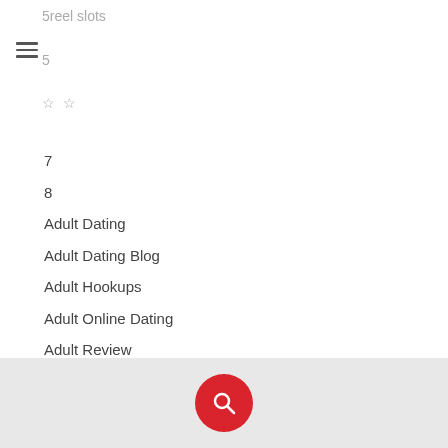5reel slots
7
8
Adult Dating
Adult Dating Blog
Adult Hookups
Adult Online Dating
Adult Review
Adultfriendfinder
Adutl Dating Sites
Aff Adult Friend Finder
argumentative essay thesis statement examples
Ashley Madison Reviews
AshleyMadison Dating
AsiaCharm Review
Asian Dating
Asian Dating Free